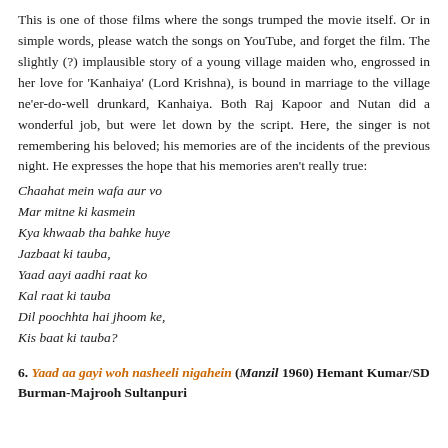This is one of those films where the songs trumped the movie itself. Or in simple words, please watch the songs on YouTube, and forget the film. The slightly (?) implausible story of a young village maiden who, engrossed in her love for 'Kanhaiya' (Lord Krishna), is bound in marriage to the village ne'er-do-well drunkard, Kanhaiya. Both Raj Kapoor and Nutan did a wonderful job, but were let down by the script. Here, the singer is not remembering his beloved; his memories are of the incidents of the previous night. He expresses the hope that his memories aren't really true:
Chaahat mein wafa aur vo
Mar mitne ki kasmein
Kya khwaab tha bahke huye
Jazbaat ki tauba,
Yaad aayi aadhi raat ko
Kal raat ki tauba
Dil poochhta hai jhoom ke,
Kis baat ki tauba?
6. Yaad aa gayi woh nasheeli nigahein (Manzil 1960) Hemant Kumar/SD Burman-Majrooh Sultanpuri